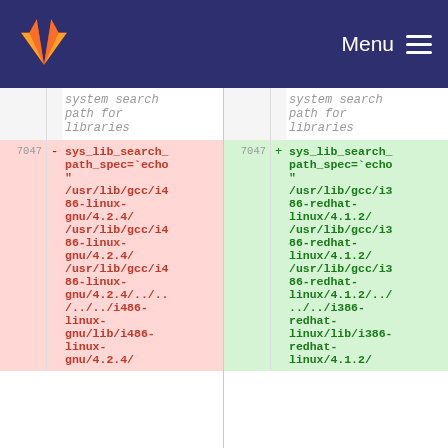GitLab — Menu
| line-old | op | code-old | line-new | op | code-new |
| --- | --- | --- | --- | --- | --- |
|  |  | system search path for libraries |  |  | system search path for libraries |
| 7047 | - | sys_lib_search_path_spec=`echo " /usr/lib/gcc/i486-linux-gnu/4.2.4/ /usr/lib/gcc/i486-linux-gnu/4.2.4/ /usr/lib/gcc/i486-linux-gnu/4.2.4/../../..i486-linux-gnu/lib/i486-linux-gnu/4.2.4/ | 7047 | + | sys_lib_search_path_spec=`echo " /usr/lib/gcc/i386-redhat-linux/4.1.2/ /usr/lib/gcc/i386-redhat-linux/4.1.2/ /usr/lib/gcc/i386-redhat-linux/4.1.2/../../..i386-redhat-linux/lib/i386-redhat-linux/4.1.2/ |